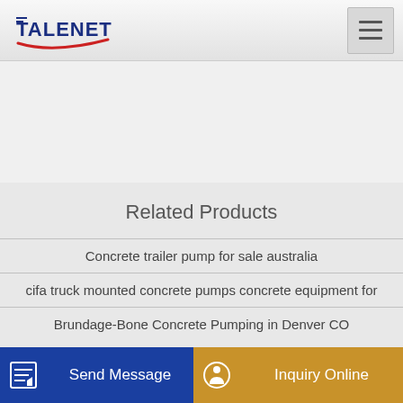TALENET (logo with hamburger menu)
Related Products
Concrete trailer pump for sale australia
cifa truck mounted concrete pumps concrete equipment for
Brundage-Bone Concrete Pumping in Denver CO
Send Message
Inquiry Online